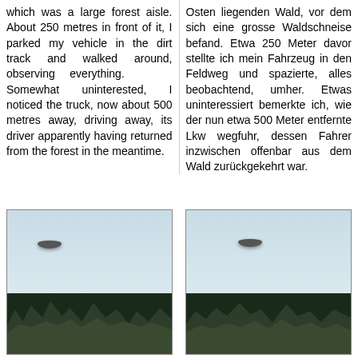which was a large forest aisle. About 250 metres in front of it, I parked my vehicle in the dirt track and walked around, observing everything. Somewhat uninterested, I noticed the truck, now about 500 metres away, driving away, its driver apparently having returned from the forest in the meantime.
Osten liegenden Wald, vor dem sich eine grosse Waldschneise befand. Etwa 250 Meter davor stellte ich mein Fahrzeug in den Feldweg und spazierte, alles beobachtend, umher. Etwas uninteressiert bemerkte ich, wie der nun etwa 500 Meter entfernte Lkw wegfuhr, dessen Fahrer inzwischen offenbar aus dem Wald zurückgekehrt war.
[Figure (photo): Photograph showing a dark disc-shaped UFO object in a pale blue-grey sky above a line of dark trees/forest.]
[Figure (photo): Photograph showing a dark disc-shaped UFO object in a pale blue-grey sky above a line of dark trees/forest, similar to the left image.]